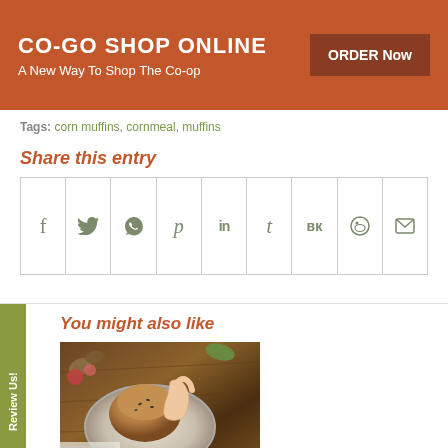CO-GO SHOP ONLINE – A New Way To Shop The Co-op | ORDER Now
Tags: corn muffins, cornmeal, muffins
Share this entry
[Figure (infographic): Social share icons grid: Facebook, Twitter, WhatsApp, Pinterest, LinkedIn, Tumblr, VK, Reddit, Email]
You might also like
[Figure (photo): Photo of a hand holding a muffin over a plate on a wooden table with flowers]